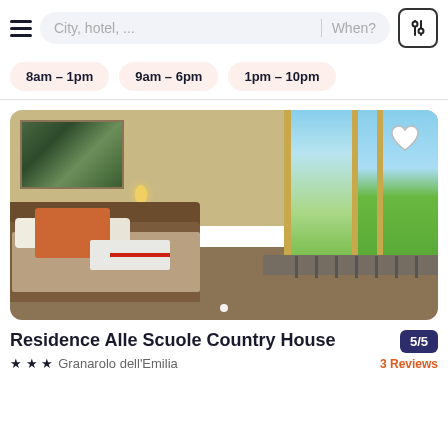City, hotel, ... | When?
8am - 1pm
9am - 6pm
1pm - 10pm
[Figure (photo): Hotel room photo showing a bed with orange cushion, wall artwork, wall lamp, and balcony doors with green field and blue sky view outside. A white heart icon is in the top-right corner. A dot indicator at the bottom center.]
Residence Alle Scuole Country House
★ ★ ★  Granarolo dell'Emilia
5/5
3 Reviews